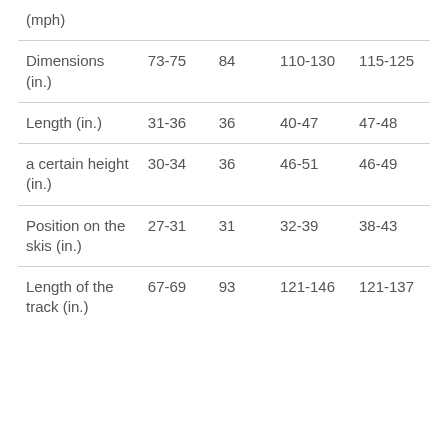| (mph) |  |  |  |  |
| Dimensions (in.) | 73-75 | 84 | 110-130 | 115-125 |
| Length (in.) | 31-36 | 36 | 40-47 | 47-48 |
| a certain height (in.) | 30-34 | 36 | 46-51 | 46-49 |
| Position on the skis (in.) | 27-31 | 31 | 32-39 | 38-43 |
| Length of the track (in.) | 67-69 | 93 | 121-146 | 121-137 |